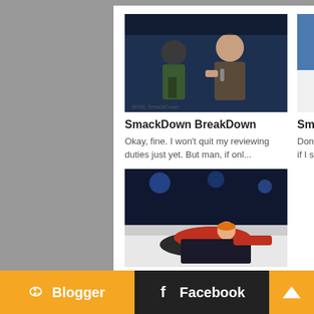[Figure (photo): Two wrestlers facing each other at a SmackDown event]
SmackDown BreakDown
Okay, fine. I won't quit my reviewing duties just yet. But man, if onl...
[Figure (photo): Female wrestler performing a move in pink outfit]
SmackDown BreakDown
Don't mind me. I'm just here wondering if I somehow entered an alterna...
[Figure (photo): Two female wrestlers grappling on the mat]
SmackDown RunDown
Please, Tony Khan, can you keep trolling WWE every week? Please make e...
Blogger   Facebook